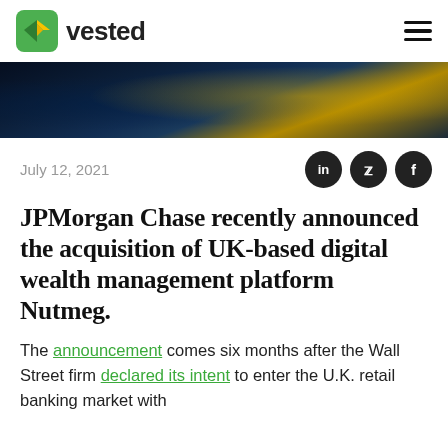vested
[Figure (photo): Aerial night view of city buildings and roads, dark blue tones with golden yellow lights]
July 12, 2021
JPMorgan Chase recently announced the acquisition of UK-based digital wealth management platform Nutmeg.
The announcement comes six months after the Wall Street firm declared its intent to enter the U.K. retail banking market with...